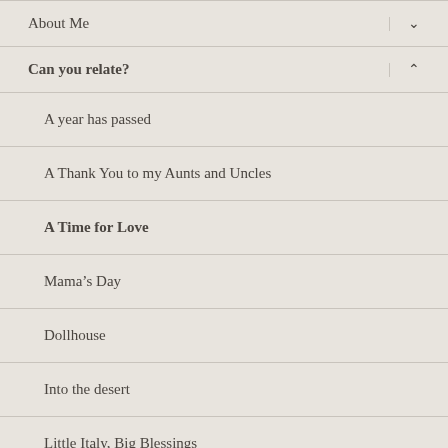About Me
Can you relate?
A year has passed
A Thank You to my Aunts and Uncles
A Time for Love
Mama's Day
Dollhouse
Into the desert
Little Italy, Big Blessings